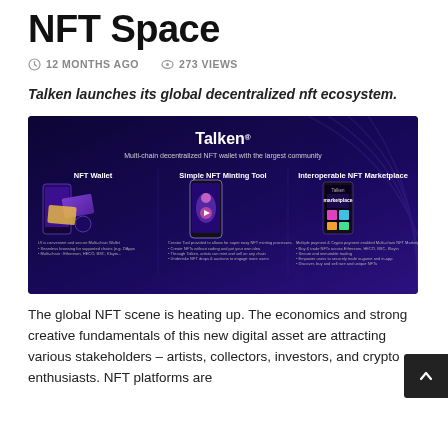NFT Space
12 MONTHS AGO   273 VIEWS
Talken launches its global decentralized nft ecosystem.
[Figure (infographic): Talken promotional banner showing Multi-chain decentralized NFT wallet with the largest community. Three sections: NFT Wallet, Simple NFT Minting Tool, Interoperable NFT Marketplace, each with phone mockups on a dark purple/blue background.]
The global NFT scene is heating up. The economics and strong creative fundamentals of this new digital asset are attracting various stakeholders – artists, collectors, investors, and crypto enthusiasts. NFT platforms are